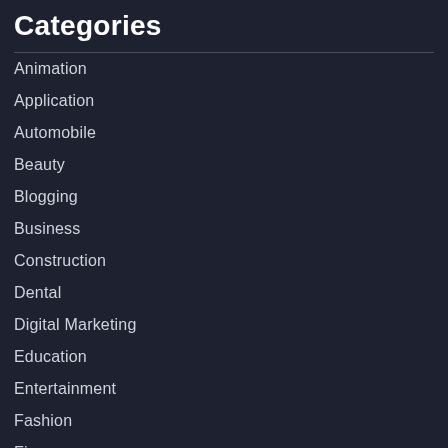Categories
Animation
Application
Automobile
Beauty
Blogging
Business
Construction
Dental
Digital Marketing
Education
Entertainment
Fashion
Finance
Fitness
Food